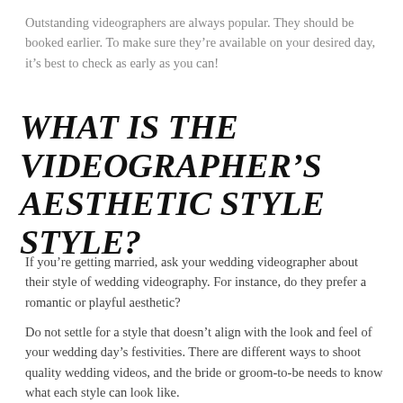Outstanding videographers are always popular. They should be booked earlier. To make sure they're available on your desired day, it's best to check as early as you can!
WHAT IS THE VIDEOGRAPHER'S AESTHETIC STYLE STYLE?
If you're getting married, ask your wedding videographer about their style of wedding videography. For instance, do they prefer a romantic or playful aesthetic?
Do not settle for a style that doesn't align with the look and feel of your wedding day's festivities. There are different ways to shoot quality wedding videos, and the bride or groom-to-be needs to know what each style can look like.